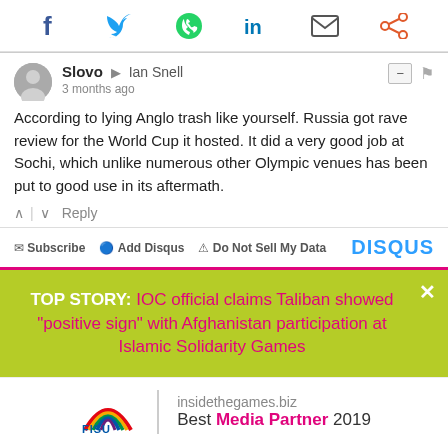[Figure (other): Social sharing icons bar: Facebook (blue f), Twitter (blue bird), WhatsApp (green phone), LinkedIn (blue in), Email (envelope), Share (orange icon)]
Slovo → Ian Snell
3 months ago
According to lying Anglo trash like yourself. Russia got rave review for the World Cup it hosted. It did a very good job at Sochi, which unlike numerous other Olympic venues has been put to good use in its aftermath.
∧ | ∨  Reply
✉ Subscribe  🔵 Add Disqus  ⚠ Do Not Sell My Data    DISQUS
TOP STORY: IOC official claims Taliban showed "positive sign" with Afghanistan participation at Islamic Solidarity Games
[Figure (logo): FISU logo with rainbow stripes]
insidethegames.biz
Best Media Partner 2019